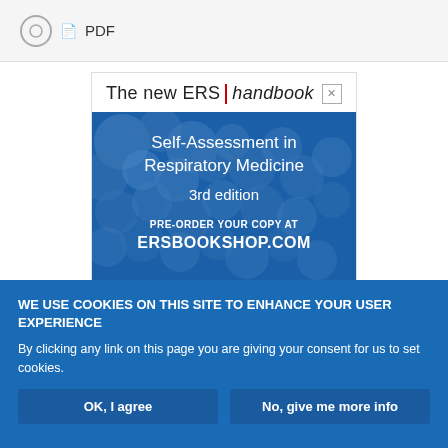PDF
[Figure (illustration): Advertisement banner for ERS Handbook: Self-Assessment in Respiratory Medicine 3rd edition. Blue background with molecular/cell imagery. Text: The new ERS | handbook, Self-Assessment in Respiratory Medicine, 3rd edition, PRE-ORDER YOUR COPY AT ERSBOOKSHOP.COM]
WE USE COOKIES ON THIS SITE TO ENHANCE YOUR USER EXPERIENCE
By clicking any link on this page you are giving your consent for us to set cookies.
OK, I agree
No, give me more info